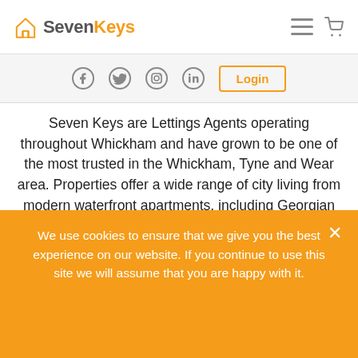SevenKeys — navigation header with logo, hamburger menu, and cart icon
Social media icons (Facebook, Twitter, Instagram, LinkedIn) and Login button
Seven Keys are Lettings Agents operating throughout Whickham and have grown to be one of the most trusted in the Whickham, Tyne and Wear area. Properties offer a wide range of city living from modern waterfront apartments, including Georgian townhouses through to Victorian terraces.

As experts in sales and lettings for Whickham, the
We use cookies to ensure that we give you the best experience on our website. If you continue to use this site we will assume that you are happy with it.